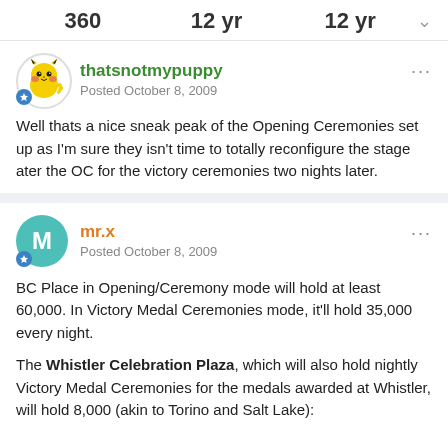360   12 yr   12 yr
thatsnotmypuppy
Posted October 8, 2009
Well thats a nice sneak peak of the Opening Ceremonies set up as I'm sure they isn't time to totally reconfigure the stage ater the OC for the victory ceremonies two nights later.
mr.x
Posted October 8, 2009
BC Place in Opening/Ceremony mode will hold at least 60,000. In Victory Medal Ceremonies mode, it'll hold 35,000 every night.

The Whistler Celebration Plaza, which will also hold nightly Victory Medal Ceremonies for the medals awarded at Whistler, will hold 8,000 (akin to Torino and Salt Lake):